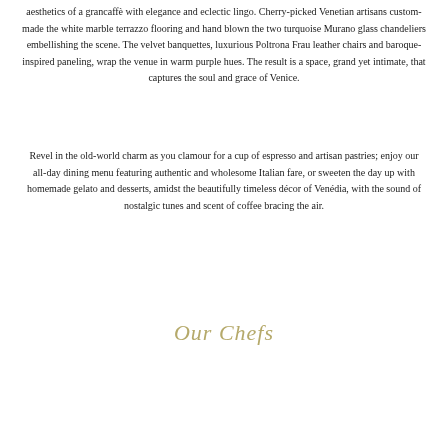aesthetics of a grancaffè with elegance and eclectic lingo. Cherry-picked Venetian artisans custom-made the white marble terrazzo flooring and hand blown the two turquoise Murano glass chandeliers embellishing the scene. The velvet banquettes, luxurious Poltrona Frau leather chairs and baroque-inspired paneling, wrap the venue in warm purple hues. The result is a space, grand yet intimate, that captures the soul and grace of Venice.
Revel in the old-world charm as you clamour for a cup of espresso and artisan pastries; enjoy our all-day dining menu featuring authentic and wholesome Italian fare, or sweeten the day up with homemade gelato and desserts, amidst the beautifully timeless décor of Venédia, with the sound of nostalgic tunes and scent of coffee bracing the air.
Our Chefs